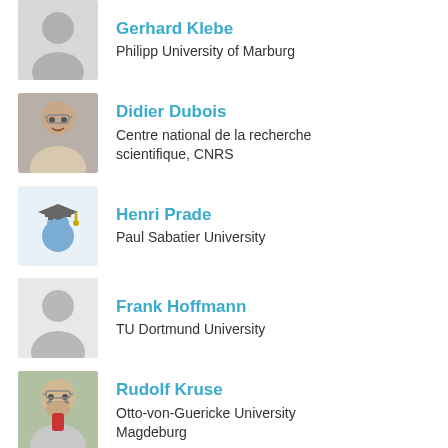Gerhard Klebe
Philipp University of Marburg
Didier Dubois
Centre national de la recherche scientifique, CNRS
Henri Prade
Paul Sabatier University
Frank Hoffmann
TU Dortmund University
Rudolf Kruse
Otto-von-Guericke University Magdeburg
Floriana Esposito
University of Bari Aldo Moro